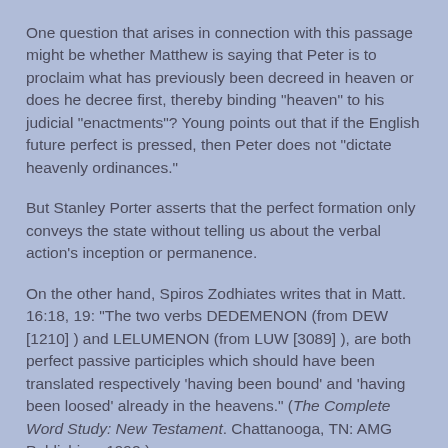One question that arises in connection with this passage might be whether Matthew is saying that Peter is to proclaim what has previously been decreed in heaven or does he decree first, thereby binding "heaven" to his judicial "enactments"? Young points out that if the English future perfect is pressed, then Peter does not "dictate heavenly ordinances."
But Stanley Porter asserts that the perfect formation only conveys the state without telling us about the verbal action's inception or permanence.
On the other hand, Spiros Zodhiates writes that in Matt. 16:18, 19: "The two verbs DEDEMENON (from DEW [1210] ) and LELUMENON (from LUW [3089] ), are both perfect passive participles which should have been translated respectively 'having been bound' and 'having been loosed' already in the heavens." (The Complete Word Study: New Testament. Chattanooga, TN: AMG Publishing, 1992.)
NET Bible: "I will give you the keys of the kingdom of